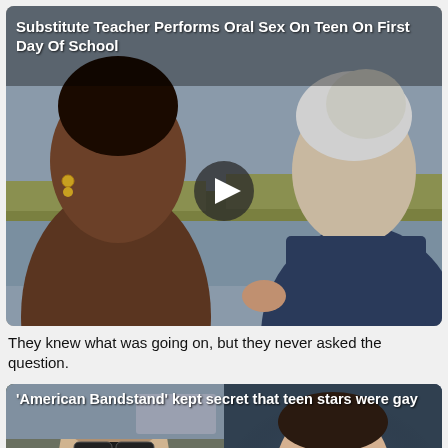Substitute Teacher Performs Oral Sex On Teen On First Day Of School
[Figure (photo): Two people facing each other near a waterfront, one with dark skin and gold earrings, one with light gray/white hair wearing a dark jacket. A video play button overlay is shown in the center.]
They knew what was going on, but they never asked the question.
'American Bandstand' kept secret that teen stars were gay
[Figure (photo): Split image: left side shows a young man with sunglasses in a car; right side shows a young man in an orange shirt staring at the camera (mugshot style). A video play button is shown in the center.]